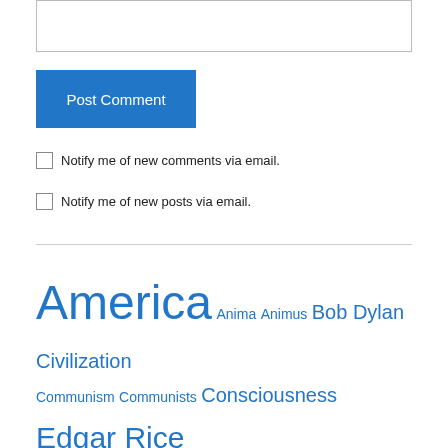[Figure (screenshot): Text area input box (form element, partial view)]
Post Comment
Notify me of new comments via email.
Notify me of new posts via email.
America Anima Animus Bob Dylan Civilization Communism Communists Consciousness Edgar Rice Burroughs ERBzine Folk Music Freud Jews Liberalism Liberals Mythology Psychology R.E. Prindle